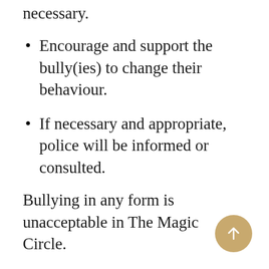necessary.
Encourage and support the bully(ies) to change their behaviour.
If necessary and appropriate, police will be informed or consulted.
Bullying in any form is unacceptable in The Magic Circle.
The Magic Circle is committed to providing a caring, friendly and safe environment for all members. Bullying can have potentially long-lasting and damaging psychological effects on the victim and is harmful to the community